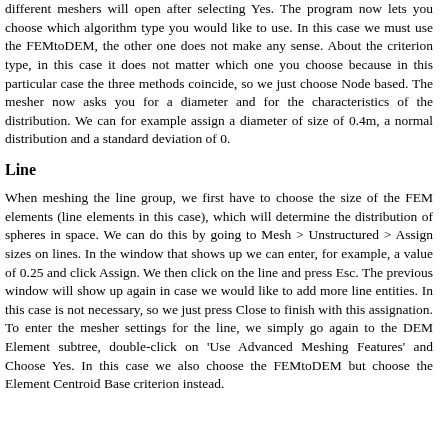different meshers will open after selecting Yes. The program now lets you choose which algorithm type you would like to use. In this case we must use the FEMtoDEM, the other one does not make any sense. About the criterion type, in this case it does not matter which one you choose because in this particular case the three methods coincide, so we just choose Node based. The mesher now asks you for a diameter and for the characteristics of the distribution. We can for example assign a diameter of size of 0.4m, a normal distribution and a standard deviation of 0.
Line
When meshing the line group, we first have to choose the size of the FEM elements (line elements in this case), which will determine the distribution of spheres in space. We can do this by going to Mesh > Unstructured > Assign sizes on lines. In the window that shows up we can enter, for example, a value of 0.25 and click Assign. We then click on the line and press Esc. The previous window will show up again in case we would like to add more line entities. In this case is not necessary, so we just press Close to finish with this assignation. To enter the mesher settings for the line, we simply go again to the DEM Element subtree, double-click on 'Use Advanced Meshing Features' and Choose Yes. In this case we also choose the FEMtoDEM but choose the Element Centroid Base criterion instead.